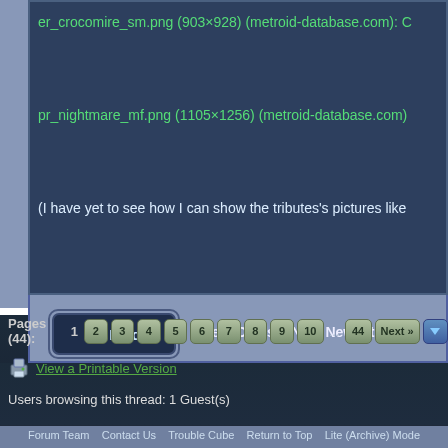er_crocomire_sm.png (903×928) (metroid-database.com):
pr_nightmare_mf.png (1105×1256) (metroid-database.com)
(I have yet to see how I can show the tributes's pictures like
[Figure (screenshot): Find button with magnifying glass icon, styled with dark rounded border]
« Next Oldest | Next Newest »
Pages (44):  1  2  3  4  5  6  7  8  9  10  ...  44  Next »  [dropdown]
View a Printable Version
Users browsing this thread: 1 Guest(s)
Forum Team   Contact Us   Trouble Cube   Return to Top   Lite (Archive) Mode